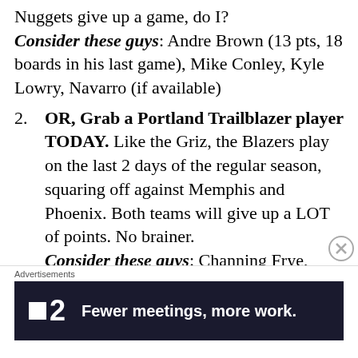Nuggets give up a game, do I?
Consider these guys: Andre Brown (13 pts, 18 boards in his last game), Mike Conley, Kyle Lowry, Navarro (if available)
2. OR, Grab a Portland Trailblazer player TODAY. Like the Griz, the Blazers play on the last 2 days of the regular season, squaring off against Memphis and Phoenix. Both teams will give up a LOT of points. No brainer.
Consider these guys: Channing Frye, Steve Blake, Jarret Jack
3. Drop your Sac-town players
Advertisements
[Figure (other): Advertisement banner: F2 logo with text 'Fewer meetings, more work.' on dark background]